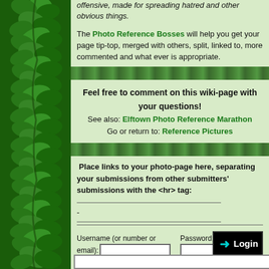offensive, made for spreading hatred and other obvious things.
The Photo Reference Bosses will help you get your page tip-top, merged with others, split, linked to, more commented and what ever is appropriate.
Feel free to comment on this wiki-page with your questions! See also: Elftown Photo Reference Marathon Go or return to: Reference Pictures
Place links to your photo-page here, separating your submissions from other submitters' submissions with the <hr> tag:
-
Username (or number or email): [input] Password: [input]
[Figure (other): Login button with arrow]